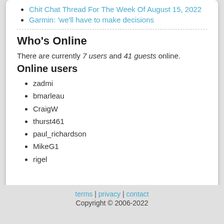Chit Chat Thread For The Week Of August 15, 2022
Garmin: 'we'll have to make decisions
Who's Online
There are currently 7 users and 41 guests online.
Online users
zadmi
bmarleau
CraigW
thurst461
paul_richardson
MikeG1
rigel
terms | privacy | contact
Copyright © 2006-2022